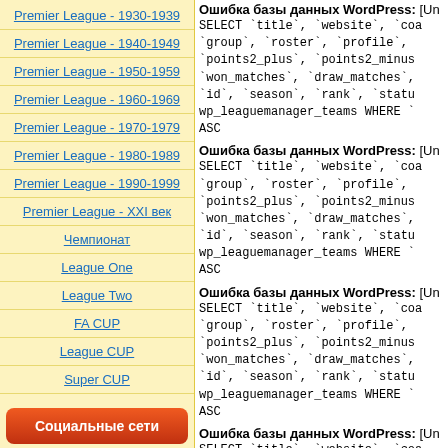Premier League - 1930-1939
Premier League - 1940-1949
Premier League - 1950-1959
Premier League - 1960-1969
Premier League - 1970-1979
Premier League - 1980-1989
Premier League - 1990-1999
Premier League - XXI век
Чемпионат
League One
League Two
FA CUP
League CUP
Super CUP
Социальные сети
Ошибка базы данных WordPress: [Unknown column ...] SELECT `title`, `website`, `coach`, `group`, `roster`, `profile`, `points2_plus`, `points2_minus`, `won_matches`, `draw_matches`, `id`, `season`, `rank`, `status` FROM wp_leaguemanager_teams WHERE ... ASC
Ошибка базы данных WordPress: [Unknown column ...] SELECT `title`, `website`, `coach`, `group`, `roster`, `profile`, `points2_plus`, `points2_minus`, `won_matches`, `draw_matches`, `id`, `season`, `rank`, `status` FROM wp_leaguemanager_teams WHERE ... ASC
Ошибка базы данных WordPress: [Unknown column ...] SELECT `title`, `website`, `coach`, `group`, `roster`, `profile`, `points2_plus`, `points2_minus`, `won_matches`, `draw_matches`, `id`, `season`, `rank`, `status` FROM wp_leaguemanager_teams WHERE ... ASC
Ошибка базы данных WordPress: [Unknown column ...] SELECT `title`, `website`, `coach`, `group`, `roster`, `profile`, `points2_plus`, `points2_minus`, `won_matches`, `draw_matches`, ... ASC